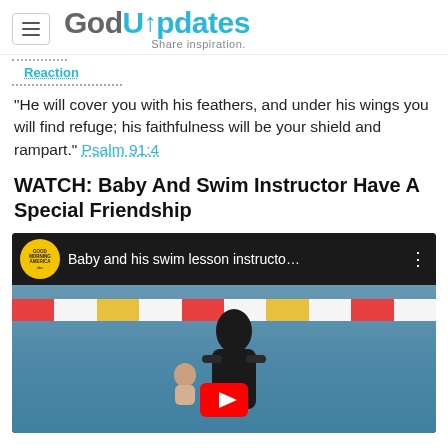GodUpdates — Share inspiration.
Reaction
"He will cover you with his feathers, and under his wings you will find refuge; his faithfulness will be your shield and rampart." Psalm 91:4
WATCH: Baby And Swim Instructor Have A Special Friendship
[Figure (screenshot): YouTube video thumbnail showing a swim instructor with a baby in a pool, from Good Morning America. Video title: 'Baby and his swim lesson instructo...']